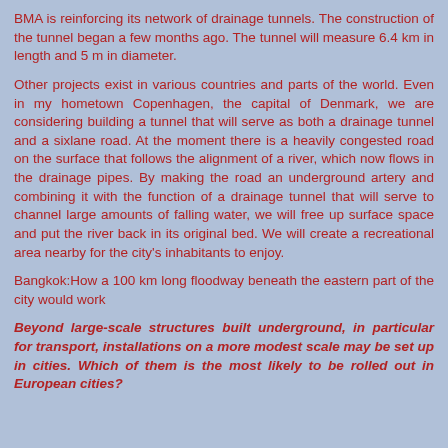BMA is reinforcing its network of drainage tunnels. The construction of the tunnel began a few months ago. The tunnel will measure 6.4 km in length and 5 m in diameter.
Other projects exist in various countries and parts of the world. Even in my hometown Copenhagen, the capital of Denmark, we are considering building a tunnel that will serve as both a drainage tunnel and a sixlane road. At the moment there is a heavily congested road on the surface that follows the alignment of a river, which now flows in the drainage pipes. By making the road an underground artery and combining it with the function of a drainage tunnel that will serve to channel large amounts of falling water, we will free up surface space and put the river back in its original bed. We will create a recreational area nearby for the city's inhabitants to enjoy.
Bangkok:How a 100 km long floodway beneath the eastern part of the city would work
Beyond large-scale structures built underground, in particular for transport, installations on a more modest scale may be set up in cities. Which of them is the most likely to be rolled out in European cities?